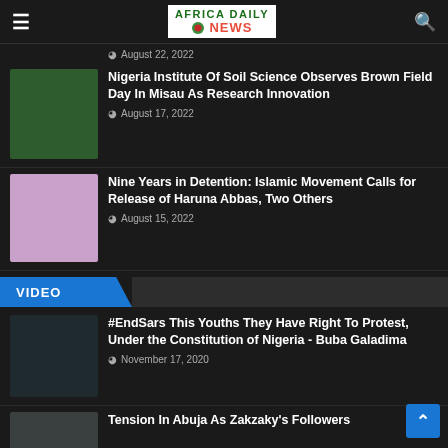AFRICA DAILY NEWS
August 22, 2022
Nigeria Institute Of Soil Science Observes Brown Field Day In Misau As Research Innovation
August 17, 2022
Nine Years in Detention: Islamic Movement Calls for Release of Haruna Abbas, Two Others
August 15, 2022
VIDEO
#EndSars This Youths They Have Right To Protest, Under the Constitution of Nigeria - Buba Galadima
November 17, 2020
Tension In Abuja As Zakzaky's Followers